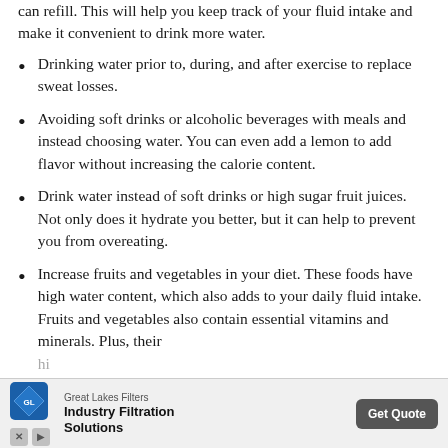can refill. This will help you keep track of your fluid intake and make it convenient to drink more water.
Drinking water prior to, during, and after exercise to replace sweat losses.
Avoiding soft drinks or alcoholic beverages with meals and instead choosing water. You can even add a lemon to add flavor without increasing the calorie content.
Drink water instead of soft drinks or high sugar fruit juices. Not only does it hydrate you better, but it can help to prevent you from overeating.
Increase fruits and vegetables in your diet. These foods have high water content, which also adds to your daily fluid intake. Fruits and vegetables also contain essential vitamins and minerals. Plus, their hi[gh fiber content]... ich will al[so]...
[Figure (other): Advertisement banner for Great Lakes Filters - Industry Filtration Solutions with Get Quote button]